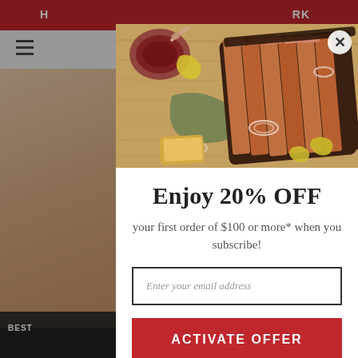[Figure (screenshot): Background website page with red header bar, navigation, and product images partially visible behind a modal popup]
[Figure (photo): BBQ brisket sliced on cutting board with sauce, onions, and peppers — shown in the modal popup header image]
Enjoy 20% OFF
your first order of $100 or more* when you subscribe!
Enter your email address
ACTIVATE OFFER